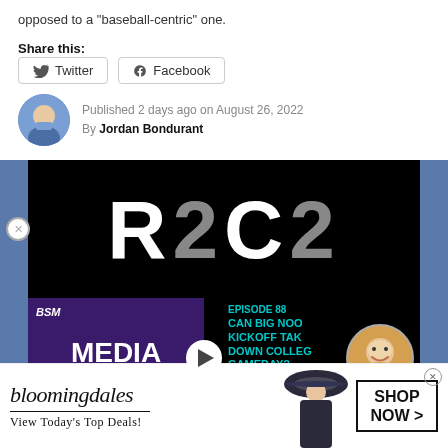opposed to a "baseball-centric" one.
Share this:
Twitter
Facebook
Published 2 days ago on August 26, 2022
By Jordan Bondurant
[Figure (screenshot): R2C2 podcast logo — large white letters R2C2 on black background within blue-gray panel]
[Figure (screenshot): BSM Media Noise podcast episode — Episode 88: Can Big Noon Kickoff Take Down College Gameday? with cartoon avatar and podcast thumbnail]
[Figure (screenshot): Bloomingdales advertisement: bloomingdales logo, 'View Today's Top Deals!', model with hat, SHOP NOW > button]